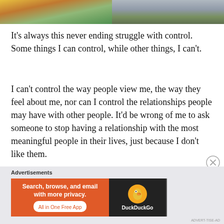[Figure (photo): Partial photo strip at top of page showing two images side by side — left appears to show colorful fabric/hammock scene, right shows a person in grey shirt outdoors]
It's always this never ending struggle with control. Some things I can control, while other things, I can't.
I can't control the way people view me, the way they feel about me, nor can I control the relationships people may have with other people. It'd be wrong of me to ask someone to stop having a relationship with the most meaningful people in their lives, just because I don't like them.
Advertisements
[Figure (screenshot): DuckDuckGo advertisement banner: orange left panel with text 'Search, browse, and email with more privacy. All in One Free App', black right panel with DuckDuckGo duck logo and brand name]